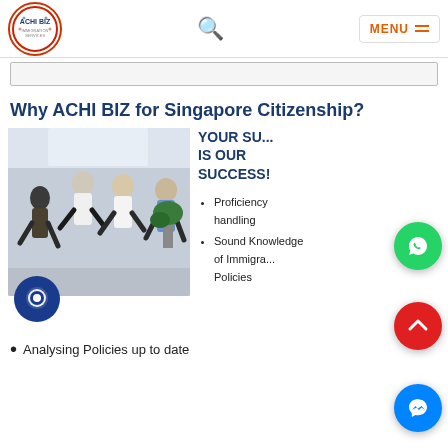[Figure (logo): ACHI BIZ circular logo with red border]
MENU
[Figure (photo): Group of four people jumping joyfully in an office hallway]
Why ACHI BIZ for Singapore Citizenship?
YOUR SUCCESS IS OUR SUCCESS!
Proficiency handling
Sound Knowledge of Immigration Policies
Analysing Policies up to date